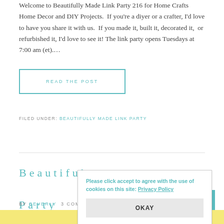Welcome to Beautifully Made Link Party 216 for Home Crafts Home Decor and DIY Projects. If you're a diyer or a crafter, I'd love to have you share it with us. If you made it, built it, decorated it, or refurbished it, I'd love to see it! The link party opens Tuesdays at 7:00 am (et).…
READ THE POST
FILED UNDER: BEAUTIFULLY MADE LINK PARTY
Beautifully Made Link Party for Home…
BY BEVERLY 3 COMMENTS
Please click accept to agree with the use of cookies on this site: Privacy Policy OKAY